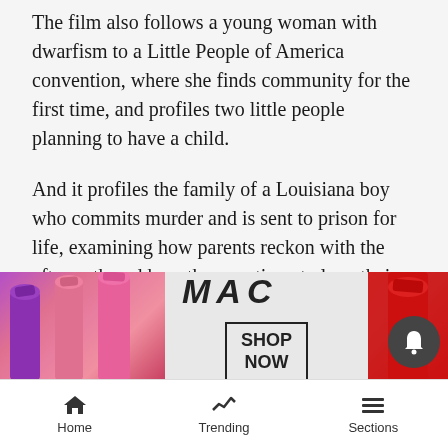The film also follows a young woman with dwarfism to a Little People of America convention, where she finds community for the first time, and profiles two little people planning to have a child.
And it profiles the family of a Louisiana boy who commits murder and is sent to prison for life, examining how parents reckon with the aftermath and how they continue to love their son.
“Far From the Tree” will screen Friday at Paepcke Auditorium as part of the Aspen Ideas Festival’s Spotlight Health conference. The film is due for a theatrical release July 20 with an on-demand release a week l...
Publish... k won
[Figure (photo): MAC cosmetics advertisement banner with lipsticks on left and right, MAC logo in italic, and a SHOP NOW button in a box in the center]
Home | Trending | Sections